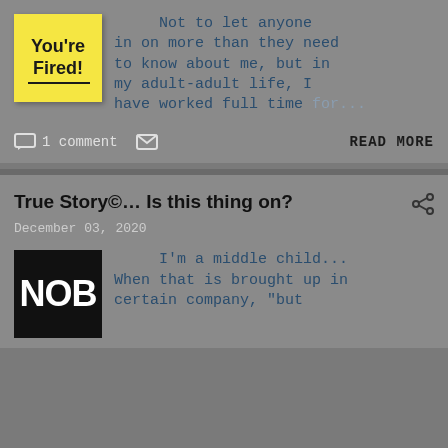[Figure (illustration): Yellow sticky note with handwritten text 'You're Fired!' and underline]
Not to let anyone in on more than they need to know about me, but in my adult-adult life, I have worked full time for...
1 comment
READ MORE
True Story©... Is this thing on?
December 03, 2020
[Figure (logo): Black square with white bold text 'NOB']
I'm a middle child... When that is brought up in certain company, "but